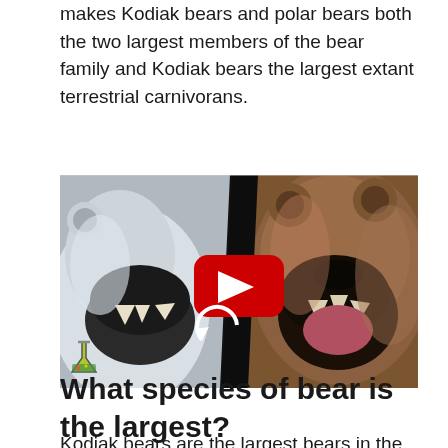makes Kodiak bears and polar bears both the two largest members of the bear family and Kodiak bears the largest extant terrestrial carnivorans.
[Figure (photo): Split image showing a roaring polar bear on the left and a roaring Kodiak/grizzly bear on the right, with a YouTube play button overlay in the center and a small flask logo icon in the bottom left corner.]
What species of bear is the largest?
Kodiak bears are the largest bears in the